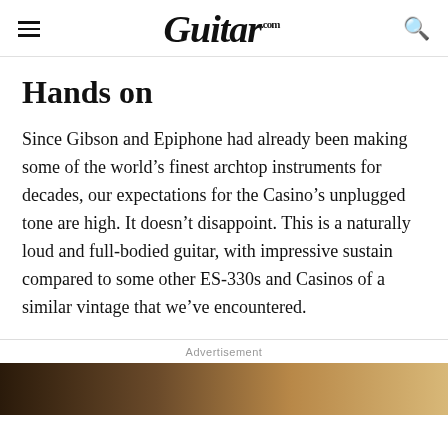Guitar.com
Hands on
Since Gibson and Epiphone had already been making some of the world’s finest archtop instruments for decades, our expectations for the Casino’s unplugged tone are high. It doesn’t disappoint. This is a naturally loud and full-bodied guitar, with impressive sustain compared to some other ES-330s and Casinos of a similar vintage that we’ve encountered.
Advertisement